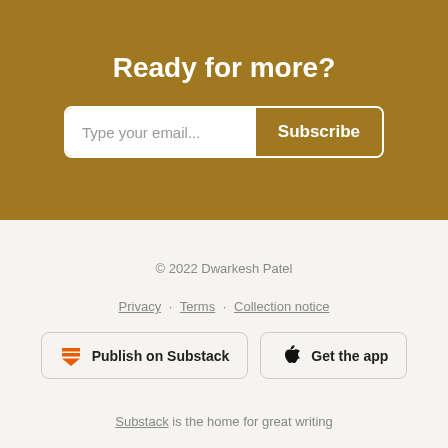Ready for more?
Type your email... Subscribe
© 2022 Dwarkesh Patel
Privacy · Terms · Collection notice
Publish on Substack  Get the app
Substack is the home for great writing